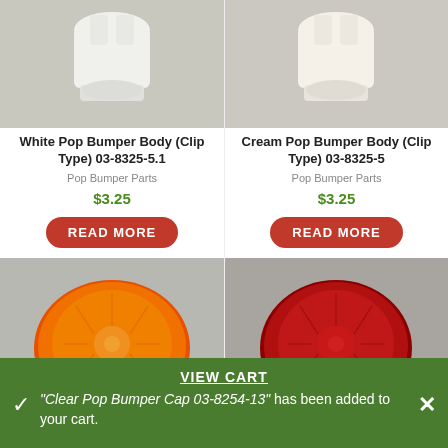[Figure (photo): White pop bumper body clip type product photo, top portion visible, white plastic component on light background]
[Figure (photo): Cream pop bumper body clip type product photo, top portion visible, cream/white plastic component on light background]
White Pop Bumper Body (Clip Type) 03-8325-5.1
Pop Bumper Parts
$3.25
READ MORE
Cream Pop Bumper Body (Clip Type) 03-8325-5
Pop Bumper Parts
$3.25
READ MORE
[Figure (photo): Orange transparent pop bumper cap, round disc-shaped orange plastic lens]
[Figure (photo): Red transparent pop bumper cap, round disc-shaped red plastic lens]
Orange Transparent Pop Bumper Cap 03-8277-13
Red Transparent Pop Bumper Cap 03-8277-8
VIEW CART
"Clear Pop Bumper Cap 03-8254-13" has been added to your cart.